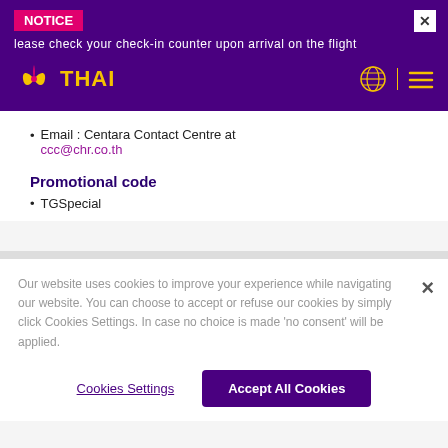NOTICE
lease check your check-in counter upon arrival on the flight
[Figure (logo): Thai Airways logo with yellow bird/flower emblem and THAI text in yellow on purple background]
Email : Centara Contact Centre at ccc@chr.co.th
Promotional code
TGSpecial
Our website uses cookies to improve your experience while navigating our website. You can choose to accept or refuse our cookies by simply click Cookies Settings. In case no choice is made 'no consent' will be applied.
Cookies Settings
Accept All Cookies